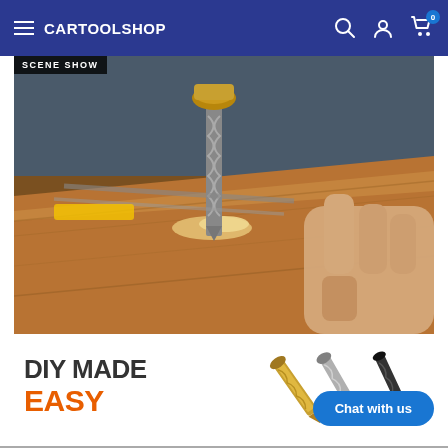CARTOOLSHOP
[Figure (photo): Scene show image of a hand holding wood while a drill bit bores into a wooden plank, with drill bits and a measuring tape visible in the background. Label 'SCENE SHOW' in upper left.]
DIY MADE EASY
[Figure (photo): Three drill bits - one gold/titanium, one silver, one black - displayed diagonally]
Chat with us